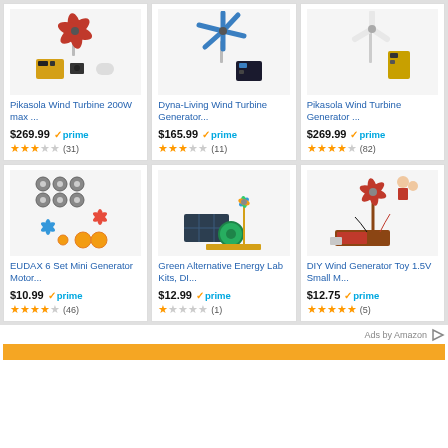[Figure (screenshot): Amazon product grid showing 6 wind turbine and generator products with prices, prime badges, star ratings, and review counts]
Ads by Amazon